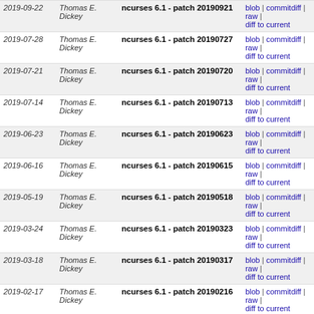| Date | Author | Commit message | Actions |
| --- | --- | --- | --- |
| 2019-09-22 | Thomas E. Dickey | ncurses 6.1 - patch 20190921 | blob | commitdiff | raw | diff to current |
| 2019-07-28 | Thomas E. Dickey | ncurses 6.1 - patch 20190727 | blob | commitdiff | raw | diff to current |
| 2019-07-21 | Thomas E. Dickey | ncurses 6.1 - patch 20190720 | blob | commitdiff | raw | diff to current |
| 2019-07-14 | Thomas E. Dickey | ncurses 6.1 - patch 20190713 | blob | commitdiff | raw | diff to current |
| 2019-06-23 | Thomas E. Dickey | ncurses 6.1 - patch 20190623 | blob | commitdiff | raw | diff to current |
| 2019-06-16 | Thomas E. Dickey | ncurses 6.1 - patch 20190615 | blob | commitdiff | raw | diff to current |
| 2019-05-19 | Thomas E. Dickey | ncurses 6.1 - patch 20190518 | blob | commitdiff | raw | diff to current |
| 2019-03-24 | Thomas E. Dickey | ncurses 6.1 - patch 20190323 | blob | commitdiff | raw | diff to current |
| 2019-03-18 | Thomas E. Dickey | ncurses 6.1 - patch 20190317 | blob | commitdiff | raw | diff to current |
| 2019-02-17 | Thomas E. Dickey | ncurses 6.1 - patch 20190216 | blob | commitdiff | raw | diff to current |
| 2019-01-22 | Thomas E. Dickey | ncurses 6.1 - patch 20190121 | blob | commitdiff | raw | diff to current |
| 2019-01-13 | Thomas E. Dickey | ncurses 6.1 - patch 20190112 | blob | commitdiff | raw | diff to current |
| 2018-12-30 | Thomas E. Dickey | ncurses 6.1 - patch 20181229 | blob | commitdiff | raw | diff to current |